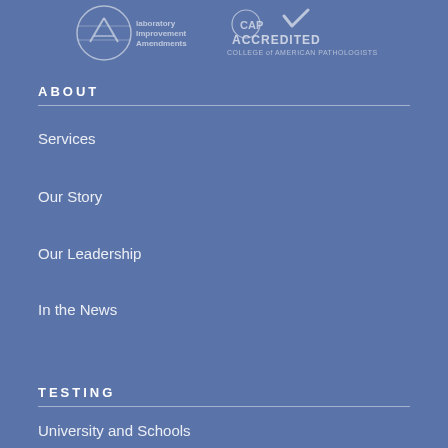[Figure (logo): Two accreditation logos: one for CLIA/Laboratory Improvements Amendments and one for CAP Accredited – College of American Pathologists]
ABOUT
Services
Our Story
Our Leadership
In the News
TESTING
University and Schools